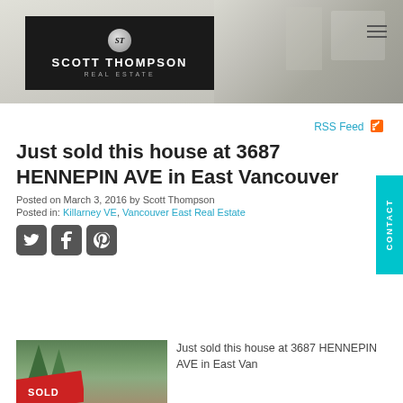[Figure (photo): Website header banner showing Scott Thompson Real Estate logo on dark background with interior home photo backdrop and hamburger menu icon]
SCOTT THOMPSON REAL ESTATE
RSS Feed
Just sold this house at 3687 HENNEPIN AVE in East Vancouver
Posted on March 3, 2016 by Scott Thompson
Posted in: Killarney VE, Vancouver East Real Estate
[Figure (photo): House photo with SOLD banner/ribbon overlay in red]
Just sold this house at 3687 HENNEPIN AVE in East Vancouver. Congratulations!